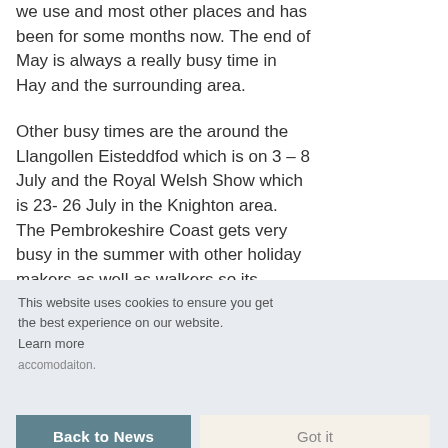we use and most other places and has been for some months now. The end of May is always a really busy time in Hay and the surrounding area.
Other busy times are the around the Llangollen Eisteddfod which is on 3 – 8 July and the Royal Welsh Show which is 23- 26 July in the Knighton area. The Pembrokeshire Coast gets very busy in the summer with other holiday makers as well as walkers so its always a good idea to book this walking holiday early to get the best accomodaiton.
This website uses cookies to ensure you get the best experience on our website. Learn more Got it